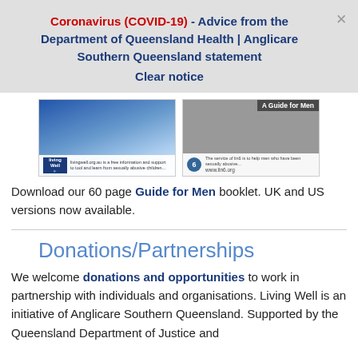Coronavirus (COVID-19) - Advice from the Department of Queensland Health | Anglicare Southern Queensland statement
Clear notice
[Figure (screenshot): Two side-by-side resource booklet images: left shows Living Well booklet cover with blue design and logo; right shows A Guide for Men booklet cover with photo of men walking and www.lin6.org URL]
Download our 60 page Guide for Men booklet. UK and US versions now available.
Donations/Partnerships
We welcome donations and opportunities to work in partnership with individuals and organisations. Living Well is an initiative of Anglicare Southern Queensland. Supported by the Queensland Department of Justice and